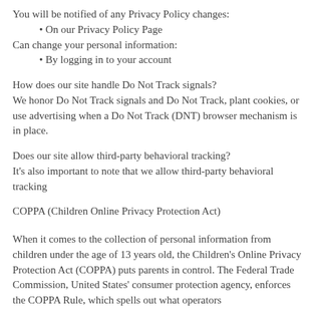You will be notified of any Privacy Policy changes:
• On our Privacy Policy Page
Can change your personal information:
• By logging in to your account
How does our site handle Do Not Track signals?
We honor Do Not Track signals and Do Not Track, plant cookies, or use advertising when a Do Not Track (DNT) browser mechanism is in place.
Does our site allow third-party behavioral tracking?
It's also important to note that we allow third-party behavioral tracking
COPPA (Children Online Privacy Protection Act)
When it comes to the collection of personal information from children under the age of 13 years old, the Children's Online Privacy Protection Act (COPPA) puts parents in control. The Federal Trade Commission, United States' consumer protection agency, enforces the COPPA Rule, which spells out what operators